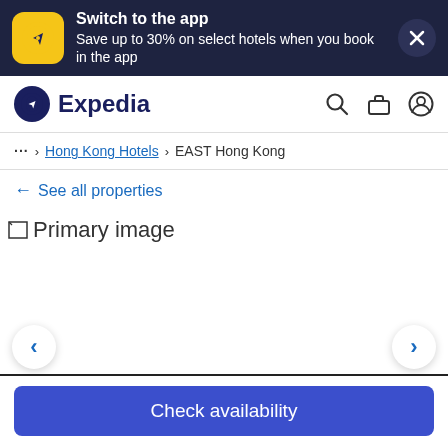[Figure (screenshot): Expedia app promotional banner with yellow app icon, text 'Switch to the app / Save up to 30% on select hotels when you book in the app', and a close X button on dark navy background]
[Figure (logo): Expedia logo with dark circle icon and 'Expedia' text, plus search, briefcase, and user account icons]
... > Hong Kong Hotels > EAST Hong Kong
← See all properties
[Figure (photo): Primary image placeholder (broken image icon) with navigation arrows on left and right]
Check availability